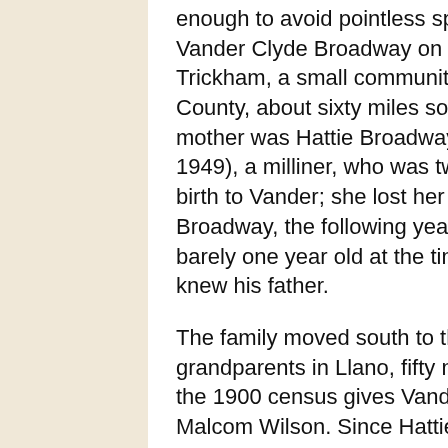enough to avoid pointless speculations. He was born Vander Clyde Broadway on December 19, 1899, in Trickham, a small community in Texas's Coleman County, about sixty miles south of Abilene. His mother was Hattie Broadway, née Martin (1879-1949), a milliner, who was twenty when she gave birth to Vander; she lost her husband, Henry Broadway, the following year: Vander, who was barely one year old at the time, practically never knew his father.
The family moved south to the farm of Hattie's grandparents in Llano, fifty miles from Austin, where the 1900 census gives Vander a young half-brother, Malcom Wilson. Since Hattie was mentioned as Hattie Wilson on Barbette's death certificate, one may surmise that, in 1900, she was in a relationship with a Mr. Wilson, whom she perhaps married soon after. If so, it would have been a short-lived union,